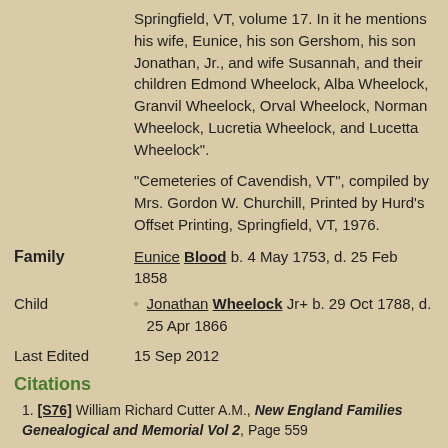Springfield, VT, volume 17. In it he mentions his wife, Eunice, his son Gershom, his son Jonathan, Jr., and wife Susannah, and their children Edmond Wheelock, Alba Wheelock, Granvil Wheelock, Orval Wheelock, Norman Wheelock, Lucretia Wheelock, and Lucetta Wheelock".
"Cemeteries of Cavendish, VT", compiled by Mrs. Gordon W. Churchill, Printed by Hurd's Offset Printing, Springfield, VT, 1976.
Family  Eunice Blood b. 4 May 1753, d. 25 Feb 1858
Child  Jonathan Wheelock Jr+ b. 29 Oct 1788, d. 25 Apr 1866
Last Edited  15 Sep 2012
Citations
1. [S76] William Richard Cutter A.M., New England Families Genealogical and Memorial Vol 2, Page 559